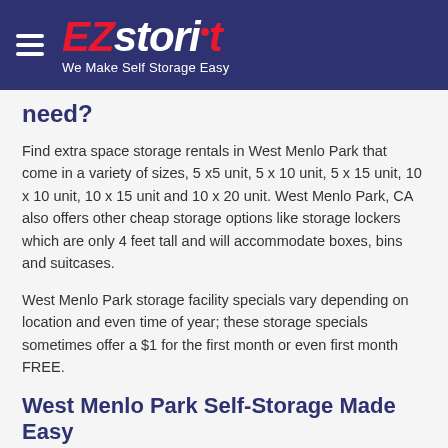EZstorit — We Make Self Storage Easy
need?
Find extra space storage rentals in West Menlo Park that come in a variety of sizes, 5 x5 unit, 5 x 10 unit, 5 x 15 unit, 10 x 10 unit, 10 x 15 unit and 10 x 20 unit. West Menlo Park, CA also offers other cheap storage options like storage lockers which are only 4 feet tall and will accommodate boxes, bins and suitcases.
West Menlo Park storage facility specials vary depending on location and even time of year; these storage specials sometimes offer a $1 for the first month or even first month FREE.
West Menlo Park Self-Storage Made Easy
No matter where you live, including West Menlo Park, people find themselves needing some extra space storage sometime in their lives. That is often where self storage West Menlo Park, CA comes in handy.